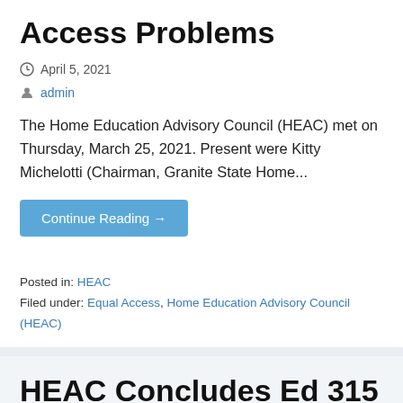Access Problems
April 5, 2021
admin
The Home Education Advisory Council (HEAC) met on Thursday, March 25, 2021. Present were Kitty Michelotti (Chairman, Granite State Home...
Continue Reading →
Posted in: HEAC
Filed under: Equal Access, Home Education Advisory Council (HEAC)
HEAC Concludes Ed 315 Revision